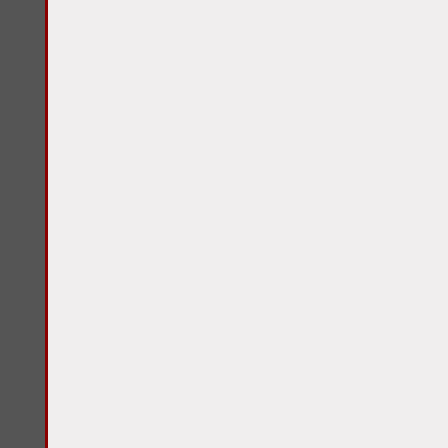19 20 21 22 23
26 27 28 29 30
« Aug
Links
» Chicago Manual of Style Citation Guide
» Chowan Discovery Group
» Competencies for Counseling the Multiracial Population
» Critical Mixed Race Studies
» Crossing Borders, Bridging Generations
» G. Reginald Daniel
» Gino Michael Pellegrini, Ph.D.
» Google URL Shortener
» Laura Kina
» Marcia Alesan Dawkins, Ph.D.